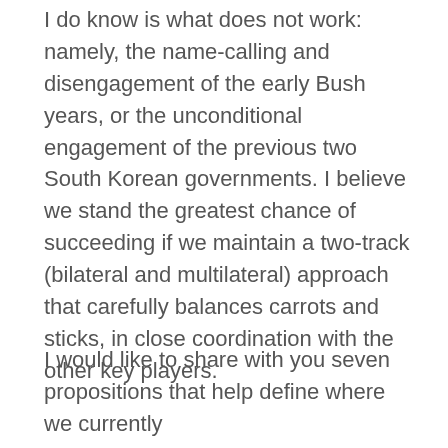I do know is what does not work: namely, the name-calling and disengagement of the early Bush years, or the unconditional engagement of the previous two South Korean governments. I believe we stand the greatest chance of succeeding if we maintain a two-track (bilateral and multilateral) approach that carefully balances carrots and sticks, in close coordination with the other key players.
I would like to share with you seven propositions that help define where we currently